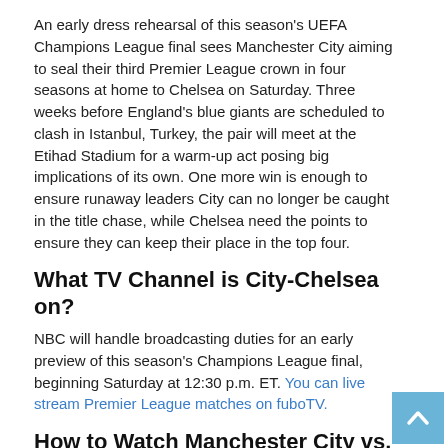An early dress rehearsal of this season's UEFA Champions League final sees Manchester City aiming to seal their third Premier League crown in four seasons at home to Chelsea on Saturday. Three weeks before England's blue giants are scheduled to clash in Istanbul, Turkey, the pair will meet at the Etihad Stadium for a warm-up act posing big implications of its own. One more win is enough to ensure runaway leaders City can no longer be caught in the title chase, while Chelsea need the points to ensure they can keep their place in the top four.
What TV Channel is City-Chelsea on?
NBC will handle broadcasting duties for an early preview of this season's Champions League final, beginning Saturday at 12:30 p.m. ET. You can live stream Premier League matches on fuboTV.
How to Watch Manchester City vs. Chelsea
When: Saturday, May 8